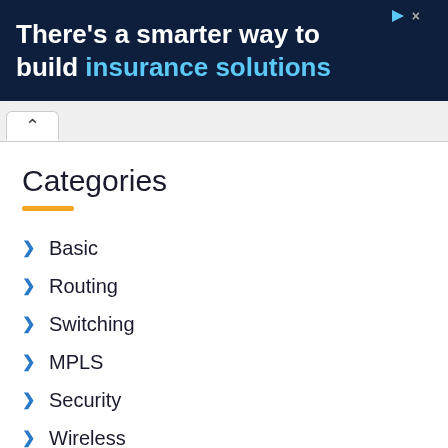[Figure (screenshot): Advertisement banner with dark navy background. Text reads: There's a smarter way to build insurance solutions. 'insurance solutions' is in light blue.]
Categories
Basic
Routing
Switching
MPLS
Security
Wireless
IPv6
Alcatel-Lucent
Cisco